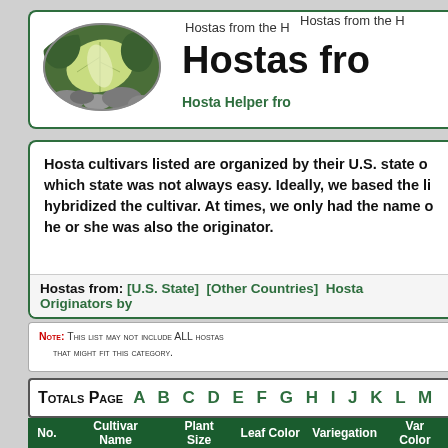[Figure (photo): Oval photo of a hosta plant with large green and white variegated leaf surrounded by river rocks]
Hostas from the H
Hostas fro
Hosta Helper fro
Hosta cultivars listed are organized by their U.S. state o which state was not always easy. Ideally, we based the li hybridized the cultivar. At times, we only had the name o he or she was also the originator.
Hostas from: [U.S. State]  [Other Countries]  Hosta Originators by
NOTE: THIS LIST MAY NOT INCLUDE ALL HOSTAS THAT MIGHT FIT THIS CATEGORY.
TOTALS PAGE   A B C D E F G H I J K L M
| No. | Cultivar Name | Plant Size | Leaf Color | Variegation | Var Color |
| --- | --- | --- | --- | --- | --- |